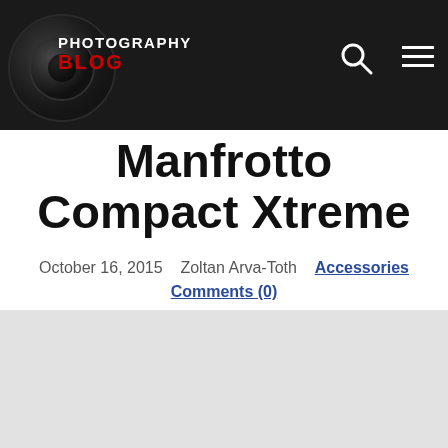PHOTOGRAPHY BLOG
Manfrotto Compact Xtreme
October 16, 2015   Zoltan Arva-Toth   Accessories   Comments (0)
[Figure (photo): Light gray image placeholder rectangle below the article header]